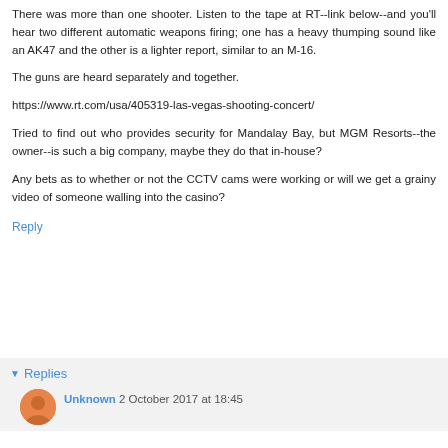There was more than one shooter. Listen to the tape at RT--link below--and you'll hear two different automatic weapons firing; one has a heavy thumping sound like an AK47 and the other is a lighter report, similar to an M-16.
The guns are heard separately and together.
https://www.rt.com/usa/405319-las-vegas-shooting-concert/
Tried to find out who provides security for Mandalay Bay, but MGM Resorts--the owner--is such a big company, maybe they do that in-house?
Any bets as to whether or not the CCTV cams were working or will we get a grainy video of someone walling into the casino?
Reply
Replies
Unknown 2 October 2017 at 18:45